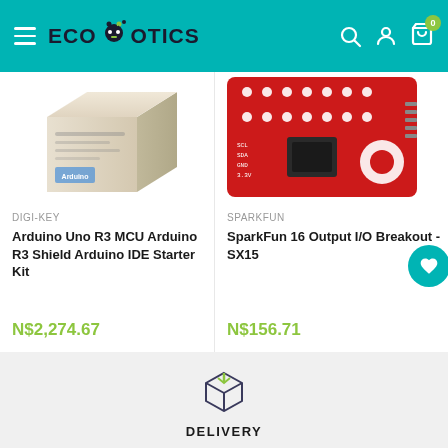ECOROBOTICS navigation bar with search, account, and cart icons
[Figure (photo): Product image of Arduino Uno R3 MCU Arduino R3 Shield Arduino IDE Starter Kit box]
DIGI-KEY
Arduino Uno R3 MCU Arduino R3 Shield Arduino IDE Starter Kit
N$2,274.67
[Figure (photo): Product image of SparkFun 16 Output I/O Breakout - SX15 red circuit board]
SPARKFUN
SparkFun 16 Output I/O Breakout - SX15
N$156.71
[Figure (illustration): Delivery box icon - outlined cube/package illustration]
DELIVERY
We deliver in Namibia to 15 major towns. Other towns can be accommodated on request.